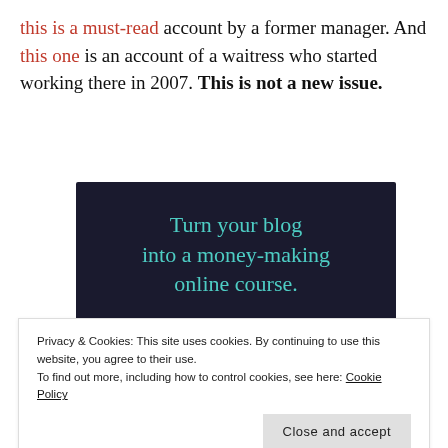this is a must-read account by a former manager. And this one is an account of a waitress who started working there in 2007. This is not a new issue.
[Figure (infographic): Dark navy advertisement banner reading 'Turn your blog into a money-making online course.' with a teal 'Learn More' button and a sensei logo in the bottom right.]
Privacy & Cookies: This site uses cookies. By continuing to use this website, you agree to their use. To find out more, including how to control cookies, see here: Cookie Policy. Close and accept
UPDATE 11/2: The accounts of the terrible working